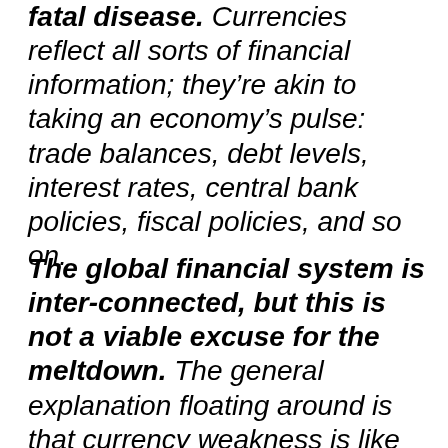fatal disease. Currencies reflect all sorts of financial information; they're akin to taking an economy's pulse: trade balances, debt levels, interest rates, central bank policies, fiscal policies, and so on.
The global financial system is inter-connected, but this is not a viable excuse for the meltdown. The general explanation floating around is that currency weakness is like the flu: one currency gets it, and then it